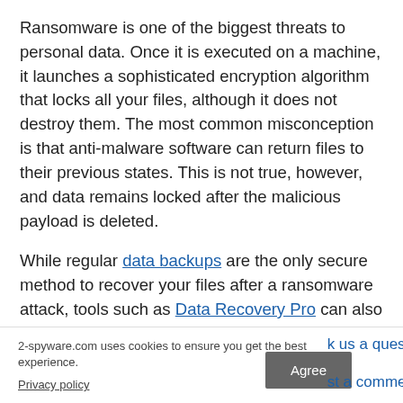Ransomware is one of the biggest threats to personal data. Once it is executed on a machine, it launches a sophisticated encryption algorithm that locks all your files, although it does not destroy them. The most common misconception is that anti-malware software can return files to their previous states. This is not true, however, and data remains locked after the malicious payload is deleted.
While regular data backups are the only secure method to recover your files after a ransomware attack, tools such as Data Recovery Pro can also be effective and restore at least some of your lost data.
2-spyware.com uses cookies to ensure you get the best experience.
Privacy policy
Agree
k us a question
st a comment